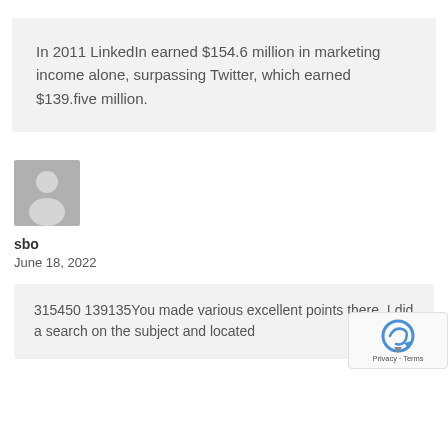In 2011 LinkedIn earned $154.6 million in marketing income alone, surpassing Twitter, which earned $139.five million.
[Figure (illustration): Gray placeholder avatar icon showing a silhouette of a person]
sbo
June 18, 2022
315450 139135You made various excellent points there. I did a search on the subject and located